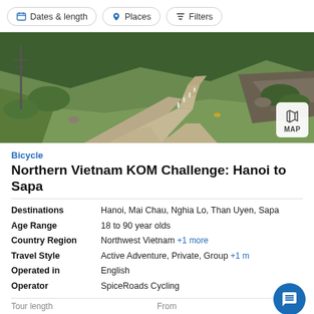Dates & length | Places | Filters
[Figure (photo): Winding rural road through green hills in Northern Vietnam, viewed from above; a forked road with green vegetation and rocky hillside]
Bicycle
Northern Vietnam KOM Challenge: Hanoi to Sapa
|  |  |
| --- | --- |
| Destinations | Hanoi, Mai Chau, Nghia Lo, Than Uyen, Sapa |
| Age Range | 18 to 90 year olds |
| Country Region | Northwest Vietnam  +1 more |
| Travel Style | Active Adventure, Private, Group  +1 m… |
| Operated in | English |
| Operator | SpiceRoads Cycling |
Tour length    From